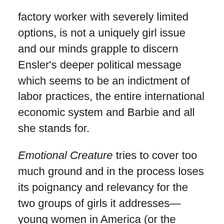factory worker with severely limited options, is not a uniquely girl issue and our minds grapple to discern Ensler's deeper political message which seems to be an indictment of labor practices, the entire international economic system and Barbie and all she stands for.
Emotional Creature tries to cover too much ground and in the process loses its poignancy and relevancy for the two groups of girls it addresses—young women in America (or the West) and young women in the rest of the world.  Both are emotional creatures but their experiences and their suffering are not easily compared. The pain and anxiety associated with navigating cliques and girl's body image and issues of sexual identity are not the same things as being sold into sex slavery (in Eastern Europe) or being abducted while on vacation and repeatedly raped for years